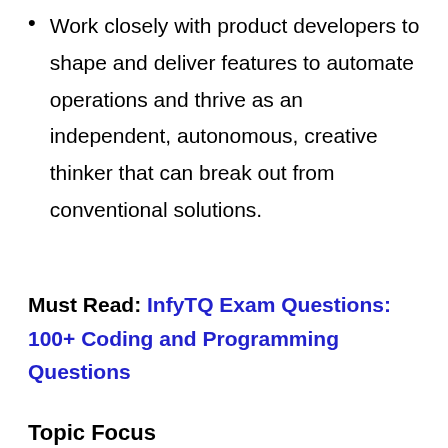Work closely with product developers to shape and deliver features to automate operations and thrive as an independent, autonomous, creative thinker that can break out from conventional solutions.
Must Read: InfyTQ Exam Questions: 100+ Coding and Programming Questions
Topic Focus